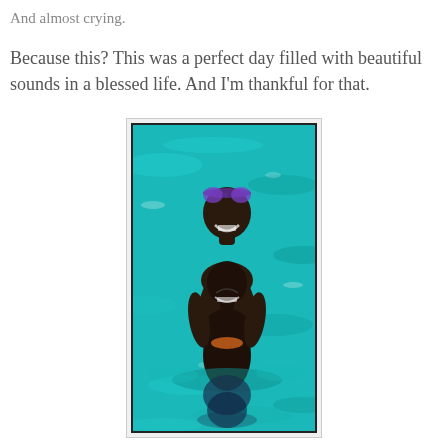And almost crying.
Because this? This was a perfect day filled with beautiful sounds in a blessed life. And I'm thankful for that.
[Figure (photo): Two young boys in a swimming pool. The taller boy stands behind, wearing purple swim goggles on his forehead and smiling broadly. The smaller boy in front appears to be crying or grimacing, with an orange floatie visible. The water is bright turquoise/teal.]